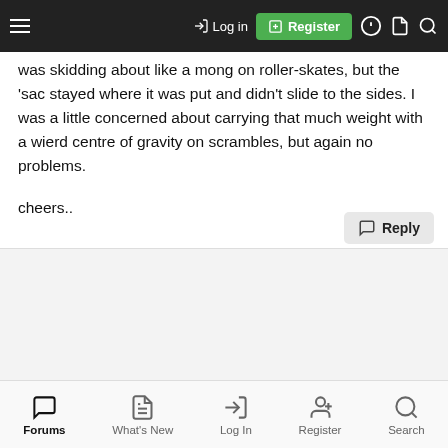Navigation bar with hamburger menu, Log in, Register, and search icons
was skidding about like a mong on roller-skates, but the 'sac stayed where it was put and didn't slide to the sides. I was a little concerned about carrying that much weight with a wierd centre of gravity on scrambles, but again no problems.

cheers..
Forums | What's New | Log In | Register | Search